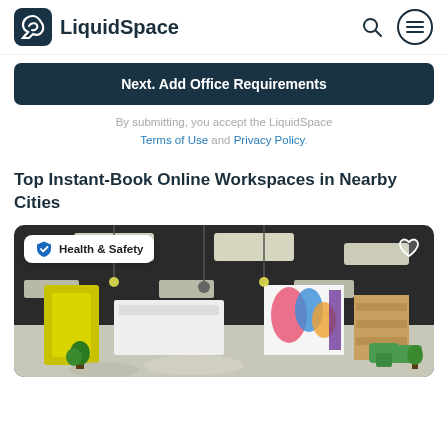LiquidSpace
Next. Add Office Requirements
By submitting, you accept the LiquidSpace Terms of Use and Privacy Policy.
Top Instant-Book Online Workspaces in Nearby Cities
[Figure (photo): Interior photo of a modern colorful coworking workspace with black ceiling, yellow accent wall, green seating, and colorful mural. Badge reads 'Health & Safety'. Heart icon top right.]